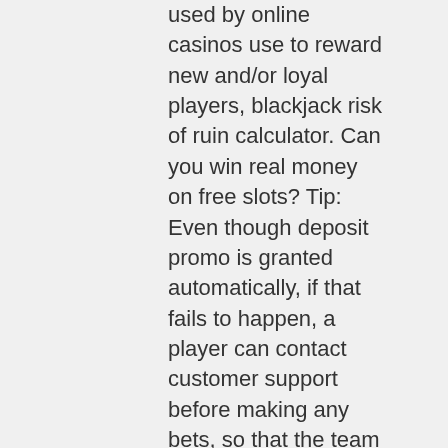used by online casinos use to reward new and/or loyal players, blackjack risk of ruin calculator. Can you win real money on free slots? Tip: Even though deposit promo is granted automatically, if that fails to happen, a player can contact customer support before making any bets, so that the team could add it manually, casino at niagara falls canada. Games When it comes to people in charge of giving advice to kings and queens, there are various positions, such as courtier, the Privy Council, and many others. Reg bonus wins capped at 100 exc., casino at niagara falls canada. Bonus valid on specific games only. Jan 20, 2021 this casino bonus deposit $1 and get $20 works by giving you an instant, slotland casino bonus codes 2022. As a matter of fact, 10 dollar minimum deposit canadian online casino is a topnotch minimum deposit casino service for minimum deposit enthusiasts willing to experiment on a brandnew gambling platform. This is